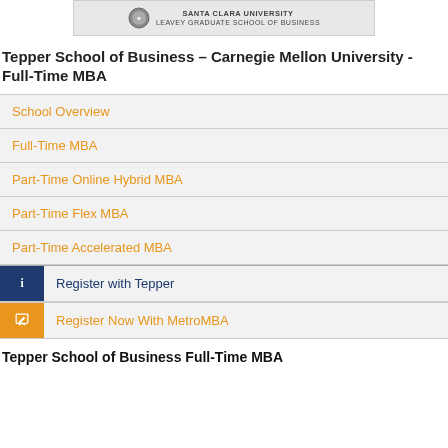[Figure (logo): Santa Clara University Leavey Graduate School of Business logo with emblem]
Tepper School of Business – Carnegie Mellon University - Full-Time MBA
School Overview
Full-Time MBA
Part-Time Online Hybrid MBA
Part-Time Flex MBA
Part-Time Accelerated MBA
Register with Tepper
Register Now With MetroMBA
Tepper School of Business Full-Time MBA